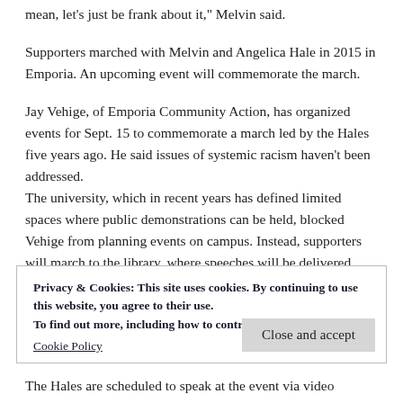mean, let's just be frank about it," Melvin said.
Supporters marched with Melvin and Angelica Hale in 2015 in Emporia. An upcoming event will commemorate the march.
Jay Vehige, of Emporia Community Action, has organized events for Sept. 15 to commemorate a march led by the Hales five years ago. He said issues of systemic racism haven't been addressed.
The university, which in recent years has defined limited spaces where public demonstrations can be held, blocked Vehige from planning events on campus. Instead, supporters will march to the library, where speeches will be delivered.
Privacy & Cookies: This site uses cookies. By continuing to use this website, you agree to their use.
To find out more, including how to control cookies, see here:
Cookie Policy
Close and accept
The Hales are scheduled to speak at the event via video